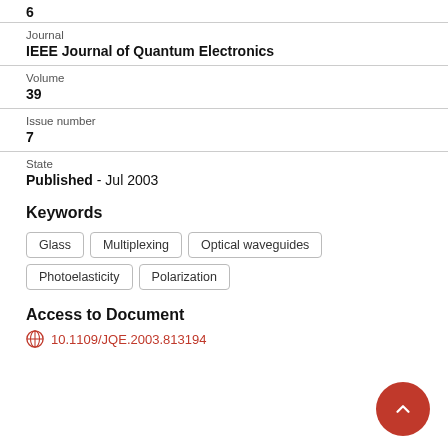6
Journal
IEEE Journal of Quantum Electronics
Volume
39
Issue number
7
State
Published - Jul 2003
Keywords
Glass
Multiplexing
Optical waveguides
Photoelasticity
Polarization
Access to Document
10.1109/JQE.2003.813194